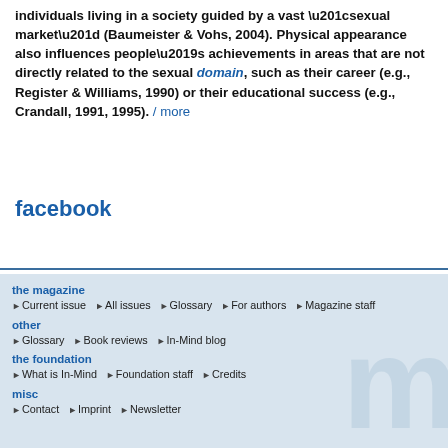individuals living in a society guided by a vast “sexual market” (Baumeister & Vohs, 2004). Physical appearance also influences people’s achievements in areas that are not directly related to the sexual domain, such as their career (e.g., Register & Williams, 1990) or their educational success (e.g., Crandall, 1991, 1995). / more
facebook
the magazine | Current issue | All issues | Glossary | For authors | Magazine staff | other | Glossary | Book reviews | In-Mind blog | the foundation | What is In-Mind | Foundation staff | Credits | misc | Contact | Imprint | Newsletter